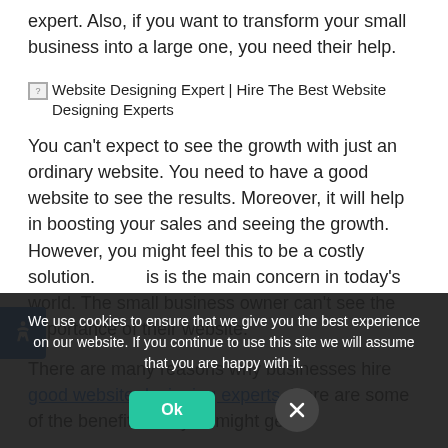expert. Also, if you want to transform your small business into a large one, you need their help.
[Figure (illustration): Broken image placeholder with label: Website Designing Expert | Hire The Best Website Designing Experts]
You can't expect to see the growth with just an ordinary website. You need to have a good website to see the results. Moreover, it will help in boosting your sales and seeing the growth. However, you might feel this to be a costly solution. This is the main concern in today's world. The small business owner can't see the importance of their website.
There are many reasons why businesses hire good website designing experts. Here are some of the benefits that you might get.
A PROMISING FIRST IMPRESSION:
The website behaves like the face of any business. The first impression is quite vital for your web page doc...
We use cookies to ensure that we give you the best experience on our website. If you continue to use this site we will assume that you are happy with it.